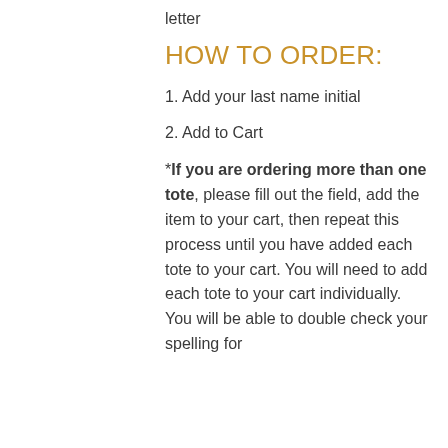letter
HOW TO ORDER:
1. Add your last name initial
2. Add to Cart
*If you are ordering more than one tote, please fill out the field, add the item to your cart, then repeat this process until you have added each tote to your cart. You will need to add each tote to your cart individually. You will be able to double check your spelling for